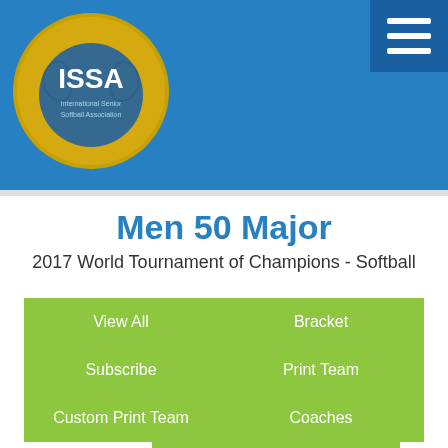ISSA International Senior Softball Association
Men 50 Major
2017 World Tournament of Champions  -  Softball
View All
Bracket
Subscribe
Print Team
Custom Print Team
Coaches
Rosters
Public Enemy
Pembroke Pines, FL (50 Major)
Coach: Michael I Wingfield